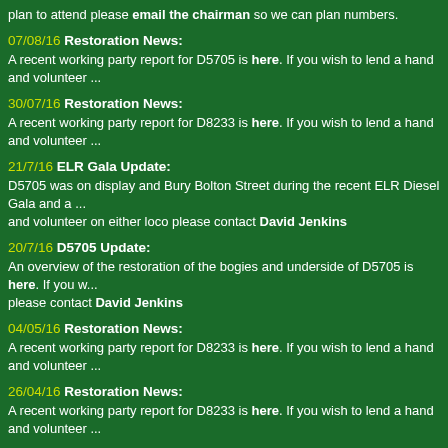plan to attend please email the chairman so we can plan numbers.
07/08/16 Restoration News: A recent working party report for D5705 is here. If you wish to lend a hand and volunteer ...
30/07/16 Restoration News: A recent working party report for D8233 is here. If you wish to lend a hand and volunteer ...
21/7/16 ELR Gala Update: D5705 was on display and Bury Bolton Street during the recent ELR Diesel Gala and a ... and volunteer on either loco please contact David Jenkins
20/7/16 D5705 Update: An overview of the restoration of the bogies and underside of D5705 is here. If you w... please contact David Jenkins
04/05/16 Restoration News: A recent working party report for D8233 is here. If you wish to lend a hand and volunteer ...
26/04/16 Restoration News: A recent working party report for D8233 is here. If you wish to lend a hand and volunteer ...
24/04/16 Restoration News: A recent working party report for D8233 is here and also here. If you wish to lend a h... David Jenkins
16/04/16 Society News: The society sent a small delegation to the ExCel Centre in London to do some networking ...
16/04/16 Restoration News: A recent working party report for D8233 is here. If you wish to lend a hand and volunteer ...
24/03/16 Society News: We are pleased to announce that the C15PS have been assisting the Little Loco Com... Type 1 locomotive. The model is due for release in the spring and retails at £375. The m... contribution towards the restoration of D8233. Full details are here